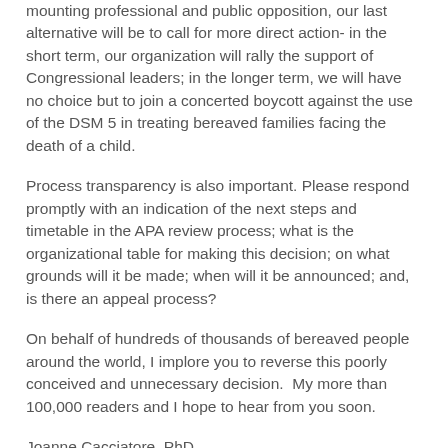mounting professional and public opposition, our last alternative will be to call for more direct action- in the short term, our organization will rally the support of Congressional leaders; in the longer term, we will have no choice but to join a concerted boycott against the use of the DSM 5 in treating bereaved families facing the death of a child.
Process transparency is also important. Please respond promptly with an indication of the next steps and timetable in the APA review process; what is the organizational table for making this decision; on what grounds will it be made; when will it be announced; and, is there an appeal process?
On behalf of hundreds of thousands of bereaved people around the world, I implore you to reverse this poorly conceived and unnecessary decision.  My more than 100,000 readers and I hope to hear from you soon.
Joanne Cacciatore, PhD
For the MISS Foundation
Organizations which currently support our opposition: